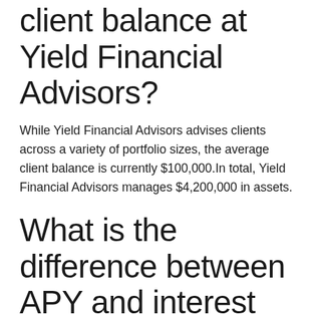client balance at Yield Financial Advisors?
While Yield Financial Advisors advises clients across a variety of portfolio sizes, the average client balance is currently $100,000.In total, Yield Financial Advisors manages $4,200,000 in assets.
What is the difference between APY and interest rate?
Interest rate is the amount that your investment will increase by over a period of time – for example a week, month or year. This increase may also be counted on